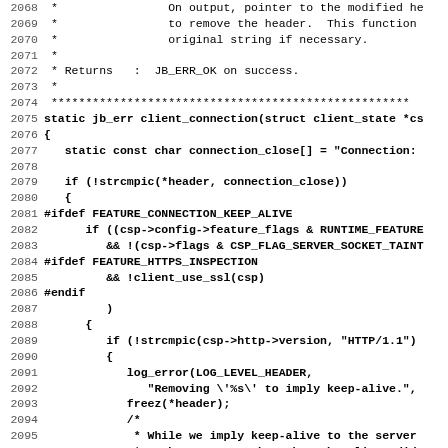Source code listing lines 2068-2099, C code for client_connection function with comments and preprocessor directives